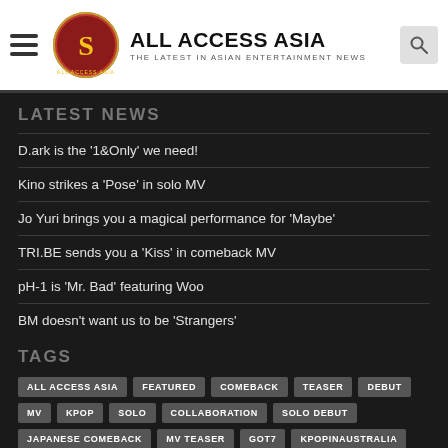ALL ACCESS ASIA — THE LATEST IN ASIAN ENTERTAINMENT NEWS
LATEST NEWS
D.ark is the '1&Only' we need!
Kino strikes a 'Pose' in solo MV
Jo Yuri brings you a magical performance for 'Maybe'
TRI.BE sends you a 'Kiss' in comeback MV
pH-1 is 'Mr. Bad' featuring Woo
BM doesn't want us to be 'Strangers'
TAGS
ALL ACCESS ASIA, FEATURED, COMEBACK, TEASER, DEBUT, MV, KPOP, SOLO, COLLABORATION, SOLO DEBUT, JAPANESE COMEBACK, MV TEASER, GOT7, KPOPINAUSTRALIA, GIRL GROUP, KPOP IN AUSTRALIA, TRACKLIST, ALLACCESSASIA, STRAY KIDS